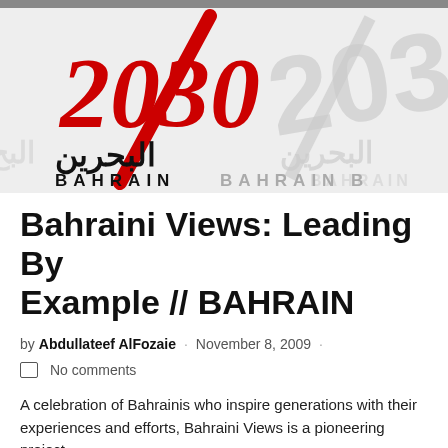[Figure (logo): Bahrain 2030 logo banner with red Arabic calligraphy numbers '2030', a red diagonal slash, Arabic text 'البحرين' and 'BAHRAIN' in bold, repeated in lighter grey watermark style on the right side, on a light grey background.]
Bahraini Views: Leading By Example // BAHRAIN
by  Abdullateef AlFozaie  ·  November 8, 2009  ·
No comments
A celebration of Bahrainis who inspire generations with their experiences and efforts, Bahraini Views is a pioneering project...